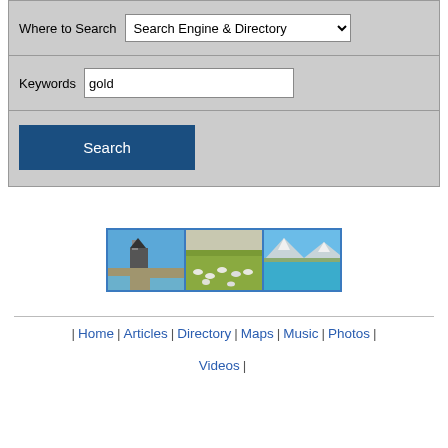Where to Search  Search Engine & Directory
Keywords  gold
Search
[Figure (photo): Three landscape thumbnail photos side by side: a church/building by a lake with blue sky, sheep grazing in green fields, and snow-capped mountains with turquoise lake]
| Home | Articles | Directory | Maps | Music | Photos | Videos |